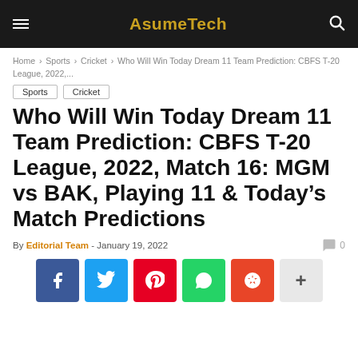AsumeTech
Home › Sports › Cricket › Who Will Win Today Dream 11 Team Prediction: CBFS T-20 League, 2022,...
Sports
Cricket
Who Will Win Today Dream 11 Team Prediction: CBFS T-20 League, 2022, Match 16: MGM vs BAK, Playing 11 & Today's Match Predictions
By Editorial Team - January 19, 2022
[Figure (other): Social sharing buttons: Facebook, Twitter, Pinterest, WhatsApp, Reddit, More]